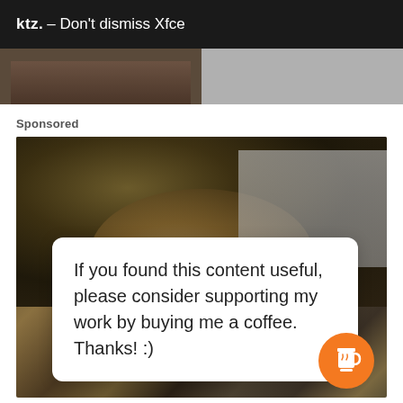ktz. – Don't dismiss Xfce
[Figure (photo): Two thumbnail images side by side – left shows a dark brownish image, right shows a gray image]
Sponsored
[Figure (photo): Advertisement photo of a soldier wearing camouflage helmet and tactical gear, with a white overlay card containing text and a coffee cup button]
If you found this content useful, please consider supporting my work by buying me a coffee. Thanks! :)